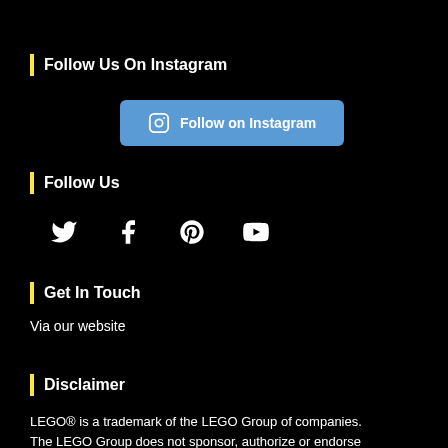Follow Us On Instagram
[Figure (other): Blue button with Instagram icon and text 'Follow on Instagram']
Follow Us
[Figure (other): Social media icons: Twitter, Facebook, Pinterest, YouTube]
Get In Touch
Via our website
Disclaimer
LEGO® is a trademark of the LEGO Group of companies. The LEGO Group does not sponsor, authorize or endorse